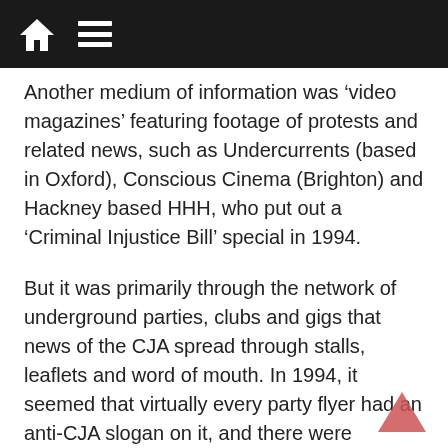Navigation bar with home and menu icons
Another medium of information was ‘video magazines’ featuring footage of protests and related news, such as Undercurrents (based in Oxford), Conscious Cinema (Brighton) and Hackney based HHH, who put out a ‘Criminal Injustice Bill’ special in 1994.
But it was primarily through the network of underground parties, clubs and gigs that news of the CJA spread through stalls, leaflets and word of mouth. In 1994, it seemed that virtually every party flyer had an anti-CJA slogan on it, and there were numerous benefit events.
Squatted spaces were important as bases of opposition, some short-lived and some lasting for months or longer. CJB activists initiated the six week occupation of Artillery Mansions, a 3,000 room empty